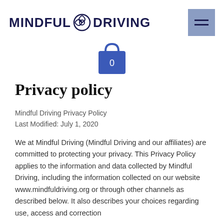MINDFUL DRIVING
[Figure (illustration): Shopping bag icon with number 0, blue color]
Privacy policy
Mindful Driving Privacy Policy
Last Modified: July 1, 2020
We at Mindful Driving (Mindful Driving and our affiliates) are committed to protecting your privacy. This Privacy Policy applies to the information and data collected by Mindful Driving, including the information collected on our website www.mindfuldriving.org or through other channels as described below. It also describes your choices regarding use, access and correction